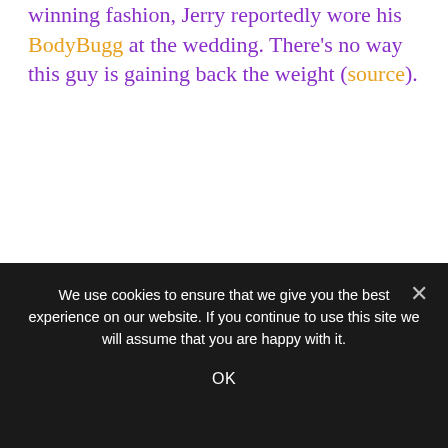winning fashion, Jerry reportedly wore his BodyBugg at the wedding. There's no way this guy is gaining back the weight (source).
Your wedding only happens once (hopefully) so you better look your best!  Don't forget that losing the weight is actually the hardest part!  Maintaining weight loss is actually easier.  This couple lost weight the right way and kept it off.  Changing your life for your wedding day could
We use cookies to ensure that we give you the best experience on our website. If you continue to use this site we will assume that you are happy with it.
OK